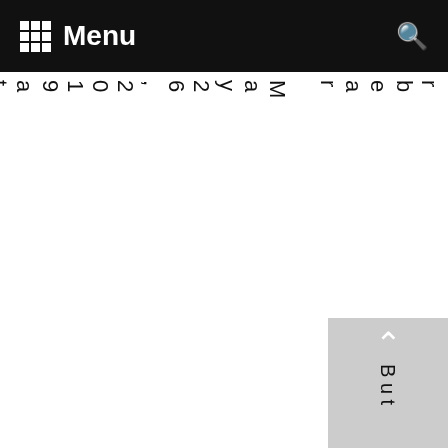Menu
rbear May 26, 2019 at 9:13 pm
Rep
But